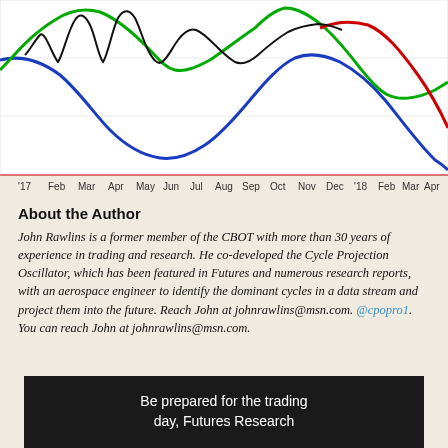[Figure (line-chart): Multi-line cycle projection chart showing black, green, blue, and red oscillator curves from Jan 2017 to Jul 2018. X-axis shows months: '17, Feb, Mar, Apr, May, Jun, Jul, Aug, Sep, Oct, Nov, Dec, '18, Feb, Mar, Apr, May, Jul.]
About the Author
John Rawlins is a former member of the CBOT with more than 30 years of experience in trading and research. He co-developed the Cycle Projection Oscillator, which has been featured in Futures and numerous research reports, with an aerospace engineer to identify the dominant cycles in a data stream and project them into the future. Reach John at johnrawlins@msn.com. @cpopro1. You can reach John at johnrawlins@msn.com.
Be prepared for the trading day, Futures Research